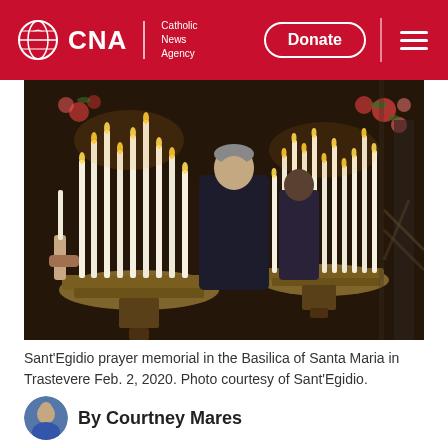CNA — Catholic News Agency
[Figure (photo): People lighting candles in large brass candle holders inside the Basilica of Santa Maria in Trastevere during a Sant'Egidio prayer memorial, Feb. 2, 2020.]
Sant'Egidio prayer memorial in the Basilica of Santa Maria in Trastevere Feb. 2, 2020. Photo courtesy of Sant'Egidio.
By Courtney Mares